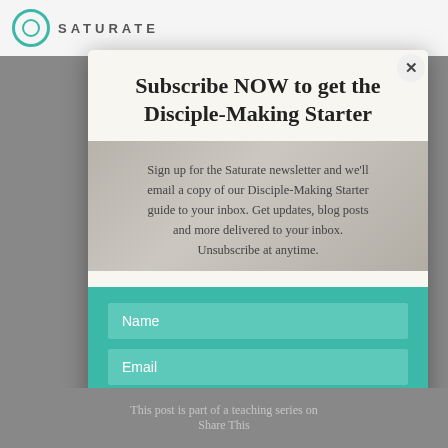SATURATE
Subscribe NOW to get the Disciple-Making Starter
Sign up for the Saturate newsletter and we'll email a copy of our Disciple-Making Starter guide to your inbox. Get updates, blog posts and more delivered to your inbox. Unsubscribe at anytime.
Name
Email
SUBSCRIBE